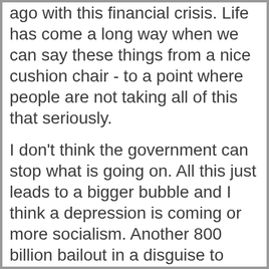ago with this financial crisis. Life has come a long way when we can say these things from a nice cushion chair - to a point where people are not taking all of this that seriously.
I don't think the government can stop what is going on. All this just leads to a bigger bubble and I think a depression is coming or more socialism. Another 800 billion bailout in a disguise to help the people is also a crock, the plan will change the next week. Another 800 billion of power to the Executive branch above the 2+ trillion. But even if this leads to a